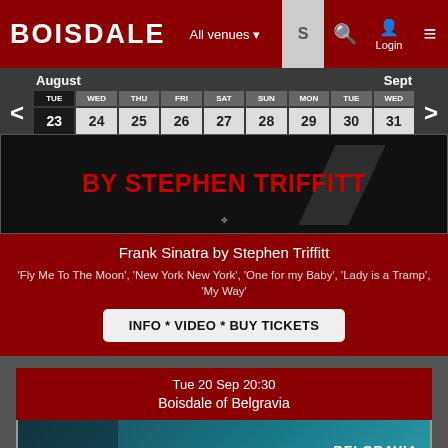[Figure (screenshot): Boisdale website header with logo, All venues dropdown, search box, login and menu icons on dark red background]
August
Sept
| TUE | WED | THU | FRI | SAT | SUN | MON | TUE | WED |
| --- | --- | --- | --- | --- | --- | --- | --- | --- |
| 23 | 24 | 25 | 26 | 27 | 28 | 29 | 30 | 31 |
[Figure (photo): Event promotional banner showing 'BY STEPHEN TRIFFITT' in large red text on black background]
Frank Sinatra by Stephen Triffitt
'Fly Me To The Moon', 'New York New York', 'One for my Baby', 'Lady is a Tramp', 'My Way'
INFO * VIDEO * BUY TICKETS
Tue 20 Sep 20:30
Boisdale of Belgravia
[Figure (photo): Event image for Belgravia venue showing performer with flowers against teal background, BELGRAVIA text overlay]